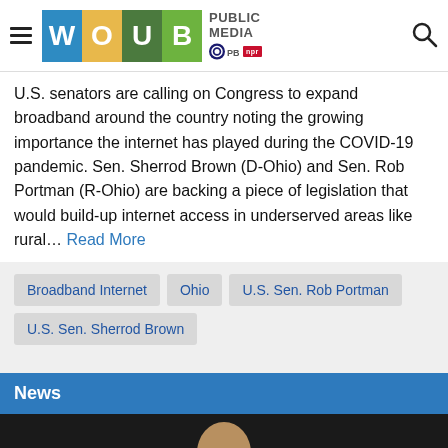[Figure (logo): WOUB Public Media logo with PBS and NPR badges, hamburger menu, and search icon]
U.S. senators are calling on Congress to expand broadband around the country noting the growing importance the internet has played during the COVID-19 pandemic. Sen. Sherrod Brown (D-Ohio) and Sen. Rob Portman (R-Ohio) are backing a piece of legislation that would build-up internet access in underserved areas like rural… Read More
Broadband Internet
Ohio
U.S. Sen. Rob Portman
U.S. Sen. Sherrod Brown
News
[Figure (photo): Partial photo of a person, dark background, bottom of page]